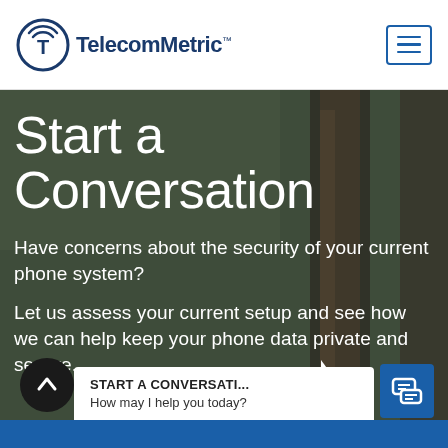[Figure (logo): TelecomMetric logo with circular T icon and company name in dark navy blue]
[Figure (other): Hamburger menu button (three horizontal lines) inside a rounded rectangle border in blue]
[Figure (photo): Background photo of rusty industrial pipes or poles, blurred, with dark green/grey overlay]
Start a Conversation
Have concerns about the security of your current phone system?
Let us assess your current setup and see how we can help keep your phone data private and secure.
START A CONVERSATI...
How may I help you today?